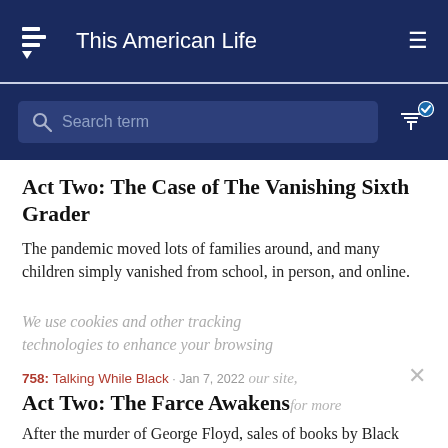This American Life
[Figure (screenshot): Search bar with magnifying glass icon and placeholder text 'Search term', with filter icon on the right]
Act Two: The Case of The Vanishing Sixth Grader
The pandemic moved lots of families around, and many children simply vanished from school, in person, and online.
We use cookies and other tracking technologies to enhance your browsing
758: Talking While Black · Jan 7, 2022
Act Two: The Farce Awakens
After the murder of George Floyd, sales of books by Black authors skyrocketed. Now, there are efforts to ban many of